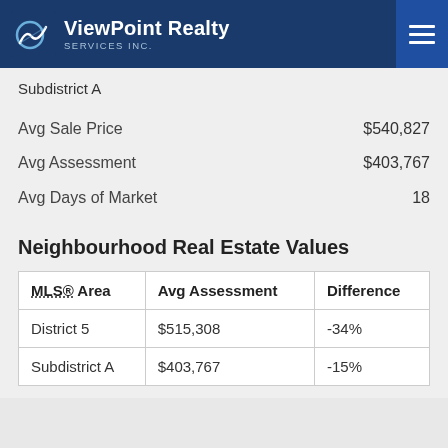ViewPoint Realty Services Inc.
Subdistrict A
Avg Sale Price $540,827
Avg Assessment $403,767
Avg Days of Market 18
Neighbourhood Real Estate Values
| MLS® Area | Avg Assessment | Difference |
| --- | --- | --- |
| District 5 | $515,308 | -34% |
| Subdistrict A | $403,767 | -15% |